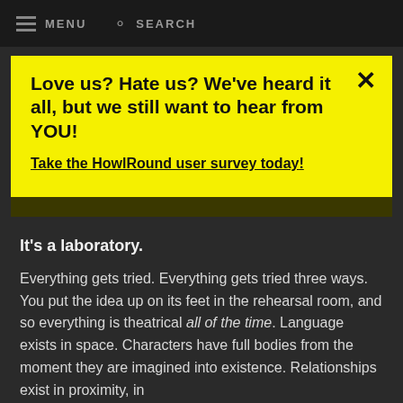MENU   SEARCH
Love us? Hate us? We've heard it all, but we still want to hear from YOU!

Take the HowlRound user survey today!
It's a laboratory.
Everything gets tried. Everything gets tried three ways. You put the idea up on its feet in the rehearsal room, and so everything is theatrical all of the time. Language exists in space. Characters have full bodies from the moment they are imagined into existence. Relationships exist in proximity, in